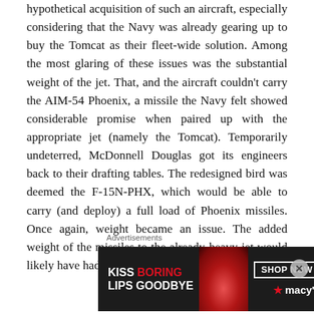hypothetical acquisition of such an aircraft, especially considering that the Navy was already gearing up to buy the Tomcat as their fleet-wide solution. Among the most glaring of these issues was the substantial weight of the jet. That, and the aircraft couldn't carry the AIM-54 Phoenix, a missile the Navy felt showed considerable promise when paired up with the appropriate jet (namely the Tomcat). Temporarily undeterred, McDonnell Douglas got its engineers back to their drafting tables. The redesigned bird was deemed the F-15N-PHX, which would be able to carry (and deploy) a full load of Phoenix missiles. Once again, weight became an issue. The added weight of the missiles to the already-heavy jet would likely have had a significant negative impact on the
Advertisements
[Figure (other): Macy's advertisement banner: 'KISS BORING LIPS GOODBYE' with red lips image and 'SHOP NOW / macys' text on dark background]